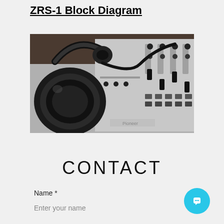ZRS-1 Block Diagram
[Figure (photo): Photo of DJ headphones resting on a silver Pioneer DJ mixer with faders and knobs, shot in black and white/monochrome style.]
CONTACT
Name *
Enter your name